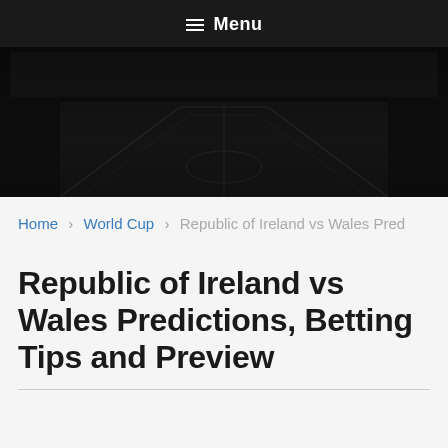Menu
[Figure (photo): Aerial/overhead view of a football stadium at night, dark toned image]
Home > World Cup > Republic of Ireland vs Wales Pred
Republic of Ireland vs Wales Predictions, Betting Tips and Preview